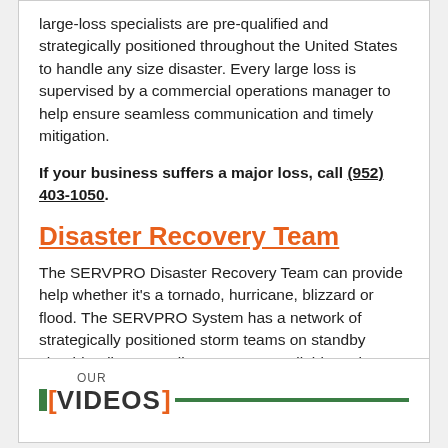large-loss specialists are pre-qualified and strategically positioned throughout the United States to handle any size disaster. Every large loss is supervised by a commercial operations manager to help ensure seamless communication and timely mitigation.
If your business suffers a major loss, call (952) 403-1050.
Disaster Recovery Team
The SERVPRO Disaster Recovery Team can provide help whether it's a tornado, hurricane, blizzard or flood. The SERVPRO System has a network of strategically positioned storm teams on standby should a disaster strike near you. Available 24 hours a day and 365 days a year, we are prepared for the unpredictable.
OUR [VIDEOS]